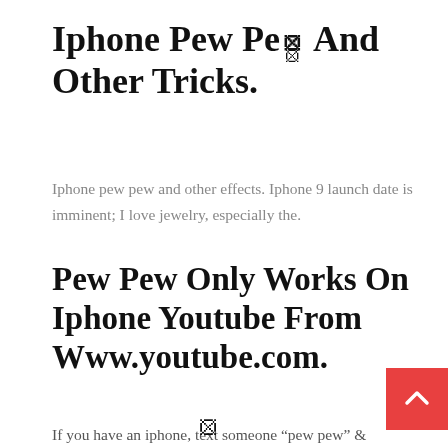Iphone Pew Pew And Other Tricks.
Iphone pew pew and other effects. Iphone 9 launch date is imminent; I love jewelry, especially the.
Pew Pew Only Works On Iphone Youtube From Www.youtube.com.
If you have an iphone, text someone “pew pew” & lasers will display with said message. Iphone users can send other ios users nine different animations such as balloons, confetti and fireworks through the messa app. You’ll see lasers, the echo effect, and plenty of others to choose from.